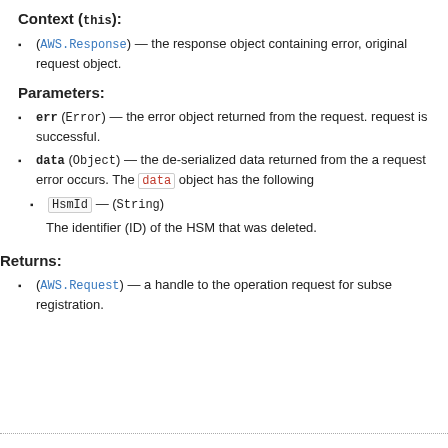Context (this):
(AWS.Response) — the response object containing error, original request object.
Parameters:
err (Error) — the error object returned from the request. request is successful.
data (Object) — the de-serialized data returned from the a request error occurs. The data object has the following
HsmId — (String)
The identifier (ID) of the HSM that was deleted.
Returns:
(AWS.Request) — a handle to the operation request for subse registration.